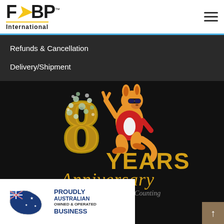[Figure (logo): FBP International logo with yellow arrow between F and B, gold underline, TM mark]
Refunds & Cancellation
Delivery/Shipment
[Figure (illustration): 8 Years Anniversary graphic: cartoon kangaroo in red jacket doing peace sign, standing on large decorated number 8 with floral wreath, gold text 'YEARS', gold italic script 'Anniversary', smaller text '8 Years & Still Counting']
[Figure (illustration): Proudly Australian Owned & Operated Business badge with Australian flag map outline and bold text]